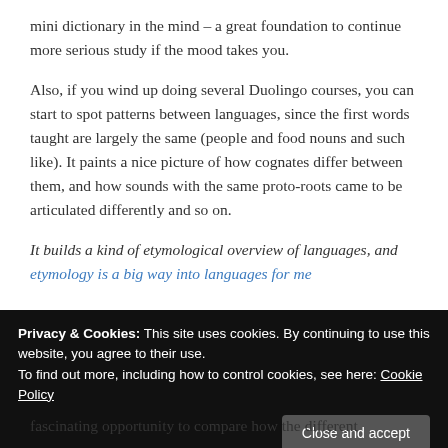mini dictionary in the mind – a great foundation to continue more serious study if the mood takes you.
Also, if you wind up doing several Duolingo courses, you can start to spot patterns between languages, since the first words taught are largely the same (people and food nouns and such like). It paints a nice picture of how cognates differ between them, and how sounds with the same proto-roots came to be articulated differently and so on.
It builds a kind of etymological overview of languages, and etymology is a big way into languages for me
Privacy & Cookies: This site uses cookies. By continuing to use this website, you agree to their use.
To find out more, including how to control cookies, see here: Cookie Policy
fascinating opportunity to compare how the different